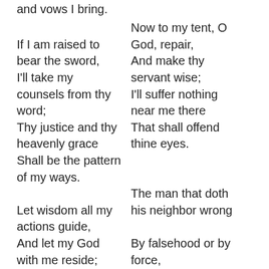and vows I bring.

If I am raised to bear the sword,
I'll take my counsels from thy word;
Thy justice and thy heavenly grace
Shall be the pattern of my ways.

Let wisdom all my actions guide,
And let my God with me reside;
No wicked thing shall dwell with me

Now to my tent, O God, repair,
And make thy servant wise;
I'll suffer nothing near me there
That shall offend thine eyes.

The man that doth his neighbor wrong
By falsehood or by force,
The scornful eye, the slanderous tongue
I'll thrust them from